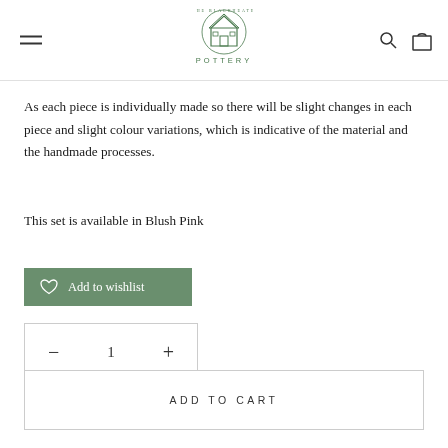The Blackheath Pottery — navigation header
As each piece is individually made so there will be slight changes in each piece and slight colour variations, which is indicative of the material and the handmade processes.
This set is available in Blush Pink
Add to wishlist
− 1 +
ADD TO CART